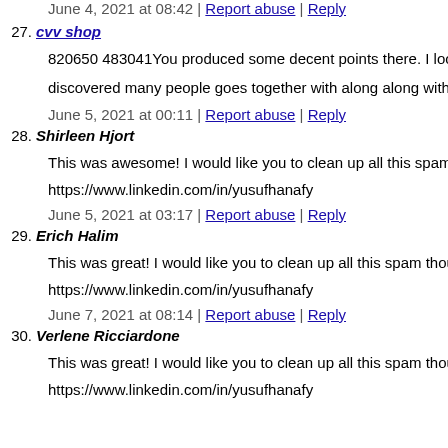June 4, 2021 at 08:42 | Report abuse | Reply
27. cvv shop
820650 483041You produced some decent points there. I look... discovered many people goes together with along along with y...
June 5, 2021 at 00:11 | Report abuse | Reply
28. Shirleen Hjort
This was awesome! I would like you to clean up all this spam t...
https://www.linkedin.com/in/yusufhanafy
June 5, 2021 at 03:17 | Report abuse | Reply
29. Erich Halim
This was great! I would like you to clean up all this spam thou...
https://www.linkedin.com/in/yusufhanafy
June 7, 2021 at 08:14 | Report abuse | Reply
30. Verlene Ricciardone
This was great! I would like you to clean up all this spam thou...
https://www.linkedin.com/in/yusufhanafy